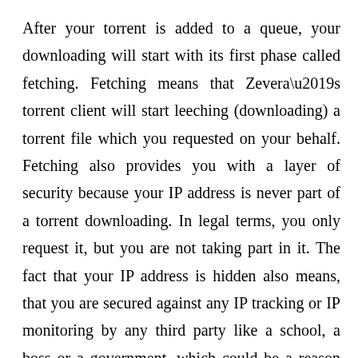After your torrent is added to a queue, your downloading will start with its first phase called fetching. Fetching means that Zevera’s torrent client will start leeching (downloading) a torrent file which you requested on your behalf. Fetching also provides you with a layer of security because your IP address is never part of a torrent downloading. In legal terms, you only request it, but you are not taking part in it. The fact that your IP address is hidden also means, that you are secured against any IP tracking or IP monitoring by any third party like a school, a boss or a government, which could be a reason for using this web-based software. Speed of fetching is an important part of user experience, and it depends on two factors. First